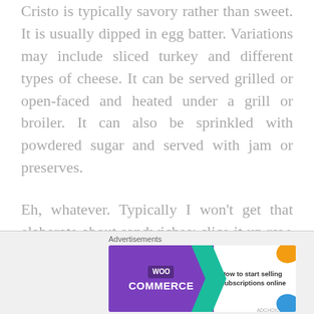Cristo is typically savory rather than sweet. It is usually dipped in egg batter. Variations may include sliced turkey and different types of cheese. It can be served grilled or open-faced and heated under a grill or broiler. It can also be sprinkled with powdered sugar and served with jam or preserves.
Eh, whatever. Typically I won't get that elaborate about sandwiches: slice it up raw, save the time and energy and put it on a plate or a napkin, all the same to me. Or just hand it to me. Powdered sugar? Jam or
[Figure (infographic): WooCommerce advertisement banner with purple left side showing WOO COMMERCE logo and teal arrow, white right side with text 'How to start selling subscriptions online' and decorative orange and blue shapes]